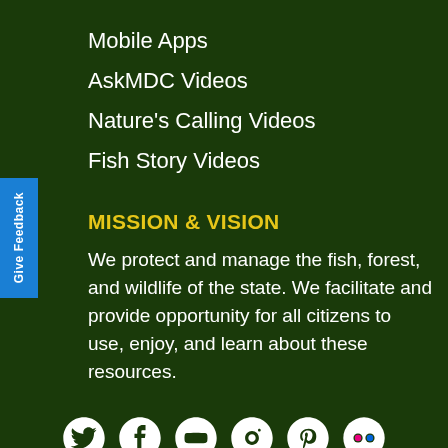Mobile Apps
AskMDC Videos
Nature's Calling Videos
Fish Story Videos
MISSION & VISION
We protect and manage the fish, forest, and wildlife of the state. We facilitate and provide opportunity for all citizens to use, enjoy, and learn about these resources.
[Figure (infographic): Social media icons row: Twitter, Facebook, YouTube, Instagram, Pinterest, Flickr]
CLICK HERE TO